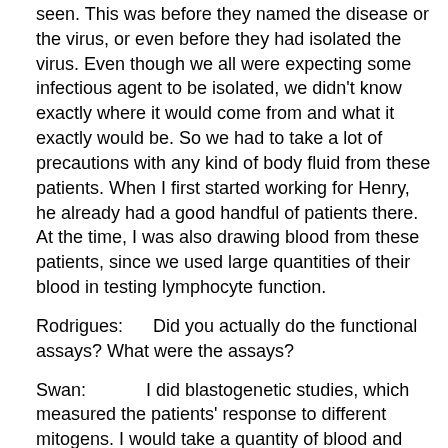seen.  This was before they named the disease or the virus, or even before they had isolated the virus.  Even though we all were expecting some infectious agent to be isolated, we didn't know exactly where it would come from and what it exactly would be.  So we had to take a lot of precautions with any kind of body fluid from these patients.  When I first started working for Henry, he already had a good handful of patients there.  At the time, I was also drawing blood from these patients, since we used large quantities of their blood in testing lymphocyte function.
Rodrigues:      Did you actually do the functional assays? What were the assays?
Swan:            I did blastogenetic studies, which measured the patients' response to different mitogens.  I would take a quantity of blood and spin it down to isolate their lymphocytes for our assays.  There was a lot infected blood around, but I never expressed my worries very much.  It just was always in the back of my mind.  Even